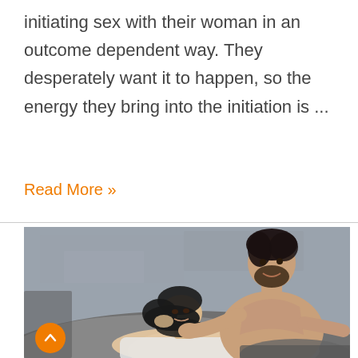initiating sex with their woman in an outcome dependent way. They desperately want it to happen, so the energy they bring into the initiation is ...
Read More »
[Figure (photo): A couple lying in bed; a shirtless man with dark hair and beard looks down smiling at a woman with dark hair lying beneath him against a grey concrete wall background.]